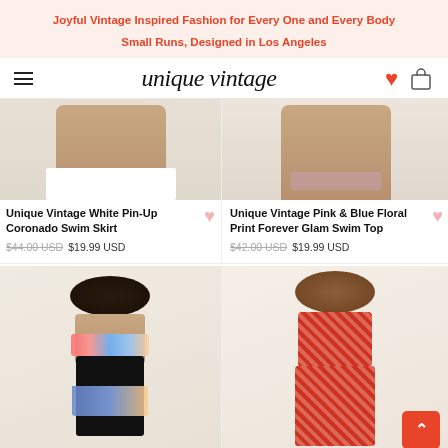Joyful Vintage Inspired Fashion for Every One and Every Body
Small Runs, Designed in Los Angeles
unique vintage
[Figure (photo): Cropped photo of model wearing white swim skirt (bottom half visible)]
[Figure (photo): Cropped photo of model wearing pink & blue floral swim top (bottom half visible)]
Unique Vintage White Pin-Up Coronado Swim Skirt
$44.00 USD  $19.99 USD
Unique Vintage Pink & Blue Floral Print Forever Glam Swim Top
$42.00 USD  $19.99 USD
[Figure (photo): Model wearing black floral halter bikini top with matching high-waist bottoms, sunglasses, dark curly hair]
[Figure (photo): Plus-size model wearing red floral two-piece crop top and skirt set, sunglasses, long brown hair]